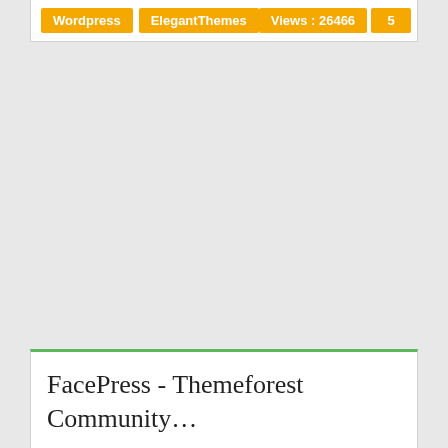Wordpress | ElegantThemes | Views: 26466 | 5
FacePress - Themeforest Community...